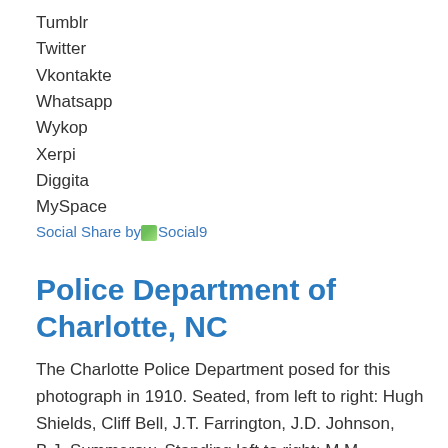Tumblr
Twitter
Vkontakte
Whatsapp
Wykop
Xerpi
Diggita
MySpace
Social Share by Social9
Police Department of Charlotte, NC
The Charlotte Police Department posed for this photograph in 1910. Seated, from left to right: Hugh Shields, Cliff Bell, J.T. Farrington, J.D. Johnson, B.J. Summerow. Standing left to right: M.M. Earnhart,